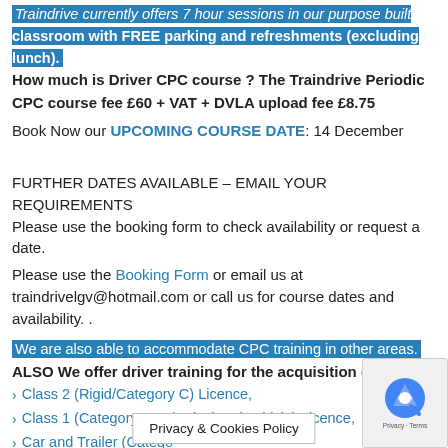Traindrive currently offers 7 hour sessions in our purpose built classroom with FREE parking and refreshments (excluding lunch). How much is Driver CPC course ? The Traindrive Periodic CPC course fee £60 + VAT + DVLA upload fee £8.75
Book Now our UPCOMING COURSE DATE: 14 December
FURTHER DATES AVAILABLE – EMAIL YOUR REQUIREMENTS Please use the booking form to check availability or request a date.
Please use the Booking Form or email us at traindrivelgv@hotmail.com or call us for course dates and availability. .
We are also able to accommodate CPC training in other areas. ALSO We offer driver training for the acquisition of a:
Class 2 (Rigid/Category C) Licence,
Class 1 (Category C+E/Articulated vehicle) Licence,
Car and Trailer (Catego...
Privacy & Cookies Policy